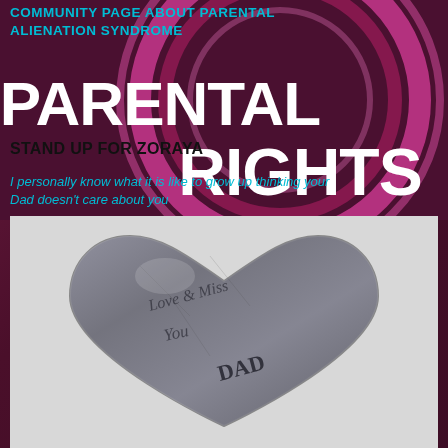[Figure (infographic): Pink and purple circular swirl background with large bold white text reading PARENTAL RIGHTS]
COMMUNITY PAGE ABOUT PARENTAL ALIENATION SYNDROME
STAND UP FOR ZORAYA
I personally know what it is like to grow up thinking your Dad doesn't care about you
[Figure (photo): A metallic heart-shaped stone engraved with the words Love & Miss You DAD, in silver/grey tones on white background]